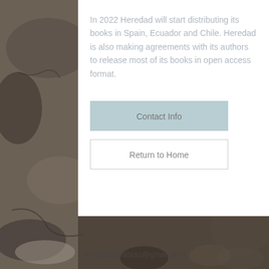[Figure (photo): Dark stone/rock textured background image behind a white card panel]
In 2022 Heredad will start distributing its books in Spain, Ecuador and Chile. Heredad is also making agreements with its authors to release most of its books in open access format.
Contact Info
Return to Home
heredadpalabras@gmail.com